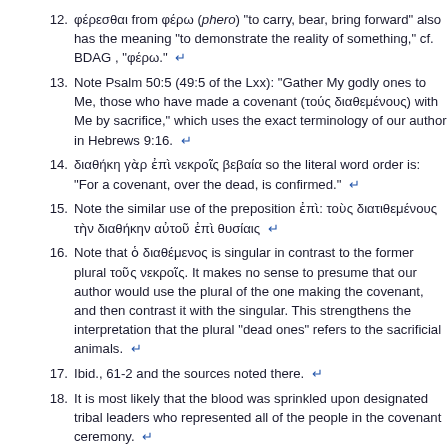12. φέρεσθαι from φέρω (phero) "to carry, bear, bring forward" also has the meaning "to demonstrate the reality of something," cf. BDAG , "φέρω." ↵
13. Note Psalm 50:5 (49:5 of the Lxx): "Gather My godly ones to Me, those who have made a covenant (τούς διαθεμένους) with Me by sacrifice," which uses the exact terminology of our author in Hebrews 9:16. ↵
14. διαθήκη γὰρ ἐπὶ νεκροῖς βεβαία so the literal word order is: "For a covenant, over the dead, is confirmed." ↵
15. Note the similar use of the preposition ἐπὶ: τοὺς διατιθεμένους τὴν διαθήκην αὐτοῦ ἐπὶ θυσίαις ↵
16. Note that ὁ διαθέμενος is singular in contrast to the former plural τοῦς νεκροῖς. It makes no sense to presume that our author would use the plural of the one making the covenant, and then contrast it with the singular. This strengthens the interpretation that the plural "dead ones" refers to the sacrificial animals. ↵
17. Ibid., 61-2 and the sources noted there. ↵
18. It is most likely that the blood was sprinkled upon designated tribal leaders who represented all of the people in the covenant ceremony. ↵